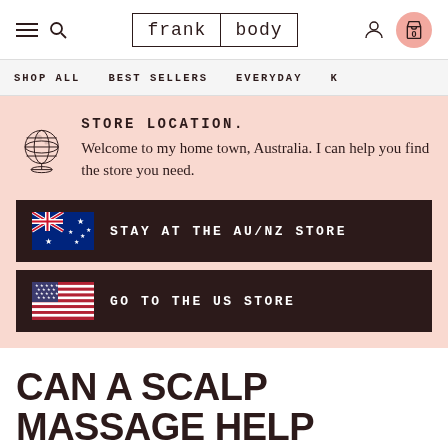frank body — navigation header with hamburger menu, search, user icon, and cart (0 items)
SHOP ALL   BEST SELLERS   EVERYDAY   K
[Figure (infographic): Store location selection panel with globe icon, heading 'STORE LOCATION.', descriptive text, AU/NZ store button with Australian flag, and US store button with American flag]
CAN A SCALP MASSAGE HELP REDUCE BUILDUP?